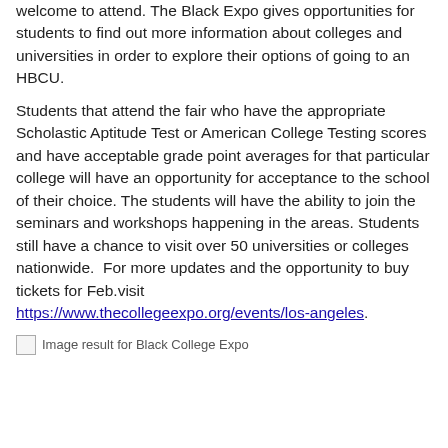welcome to attend. The Black Expo gives opportunities for students to find out more information about colleges and universities in order to explore their options of going to an HBCU.
Students that attend the fair who have the appropriate Scholastic Aptitude Test or American College Testing scores and have acceptable grade point averages for that particular college will have an opportunity for acceptance to the school of their choice. The students will have the ability to join the seminars and workshops happening in the areas. Students still have a chance to visit over 50 universities or colleges nationwide.  For more updates and the opportunity to buy tickets for Feb.visit https://www.thecollegeexpo.org/events/los-angeles.
[Figure (photo): Image result for Black College Expo (broken image placeholder)]